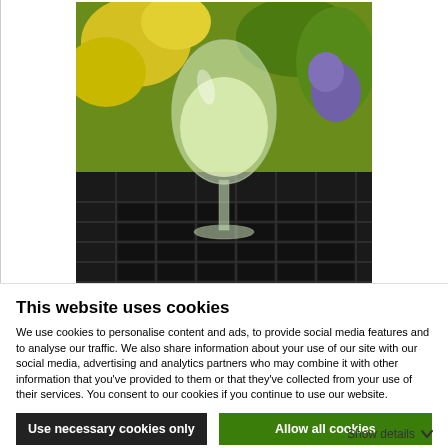[Figure (photo): A wine glass filled with a pale yellow-green liquid (amazake), set outdoors on a metal lattice table with yellow and purple flowering plants in the background.]
Print Recipe
Cold Brew Amazake
This website uses cookies
We use cookies to personalise content and ads, to provide social media features and to analyse our traffic. We also share information about your use of our site with our social media, advertising and analytics partners who may combine it with other information that you've provided to them or that they've collected from your use of their services. You consent to our cookies if you continue to use our website.
Use necessary cookies only
Allow all cookies
Show details